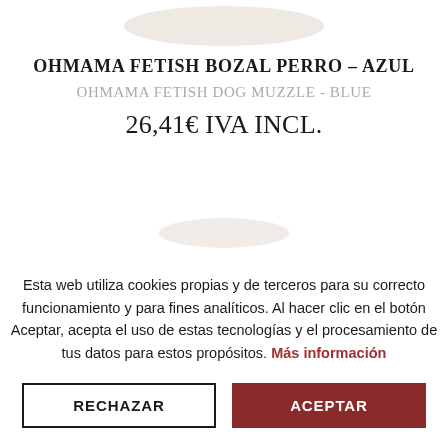[Figure (illustration): Bottom edge of a product (dog muzzle) image, showing a pale oval/ellipse shape at top of page]
OHMAMA FETISH BOZAL PERRO – AZUL
OHMAMA FETISH DOG MUZZLE - BLUE
26,41€ IVA INCL.
[Figure (illustration): Partial product image, bottom circular shadow/base of dog muzzle product]
Esta web utiliza cookies propias y de terceros para su correcto funcionamiento y para fines analíticos. Al hacer clic en el botón Aceptar, acepta el uso de estas tecnologías y el procesamiento de tus datos para estos propósitos. Más información
RECHAZAR
ACEPTAR